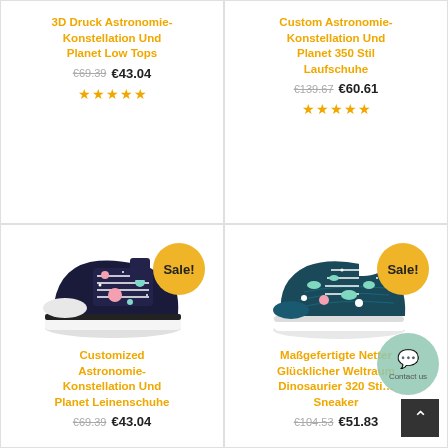3D Druck Astronomie-Konstellation Und Planet Low Tops
€69.39 €43.04
[Figure (other): Five gold stars rating]
Custom Astronomie-Konstellation Und Planet 350 Stil Laufschuhe
€139.67 €60.61
[Figure (other): Five gold stars rating]
[Figure (photo): Dark navy low-top sneaker with constellation/planet print, Sale! badge]
Customized Astronomie-Konstellation Und Planet Leinenschuhe
€69.39 €43.04
[Figure (photo): Dark teal running sneaker with dinosaur/space print, Sale! badge]
Maßgefertigte Netter Glücklicher Weltraum Dinosaurier 320 Stil Sneaker
€104.53 €51.83